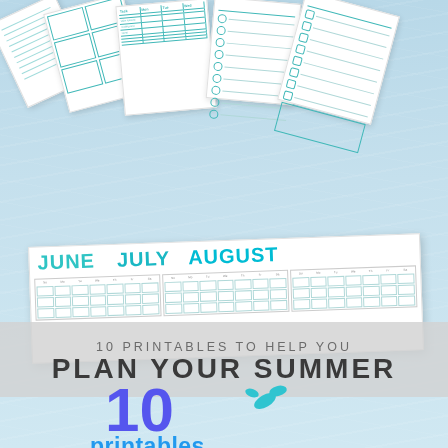[Figure (illustration): Fan of printable planning sheets arranged at the top of the page on a light blue water-textured background, showing various planning templates with teal/turquoise grid lines, ruled lines, checkboxes, and tables]
[Figure (illustration): Three summer calendar pages showing JUNE, JULY, AUGUST in teal/cyan bold text with monthly calendar grids below, arranged in a slightly rotated white strip]
10 PRINTABLES TO HELP YOU
PLAN YOUR SUMMER
[Figure (logo): Large purple '10' numeral with cyan water splash graphic, followed by blue bold 'printables' text and purple italic cursive 'for an organized summer' subtitle]